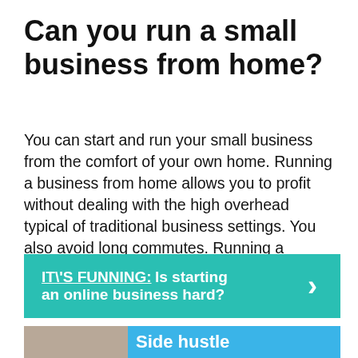Can you run a small business from home?
You can start and run your small business from the comfort of your own home. Running a business from home allows you to profit without dealing with the high overhead typical of traditional business settings. You also avoid long commutes. Running a successful small business from home isn’t always easy, however.
[Figure (infographic): Teal/green banner with bold white text reading 'IT\'S FUNNING: Is starting an online business hard?' with a white right-pointing chevron arrow on the right side.]
[Figure (photo): Partial image at bottom showing a person with a blue banner partially visible with text 'Side hustle' or similar.]